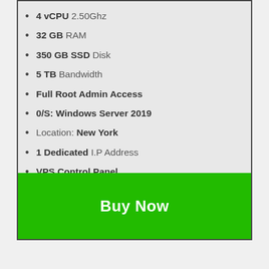4 vCPU 2.50Ghz
32 GB RAM
350 GB SSD Disk
5 TB Bandwidth
Full Root Admin Access
0/S: Windows Server 2019
Location: New York
1 Dedicated I.P Address
VPS Control Panel
100% Uptime Guarantee
Setup Time: Instant Delivery
Buy Now